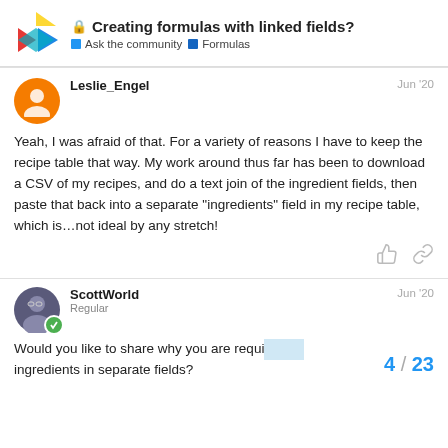Creating formulas with linked fields? | Ask the community | Formulas
Yeah, I was afraid of that. For a variety of reasons I have to keep the recipe table that way. My work around thus far has been to download a CSV of my recipes, and do a text join of the ingredient fields, then paste that back into a separate „ingredients“ field in my recipe table, which is…not ideal by any stretch!
Would you like to share why you are requiring ingredients in separate fields?